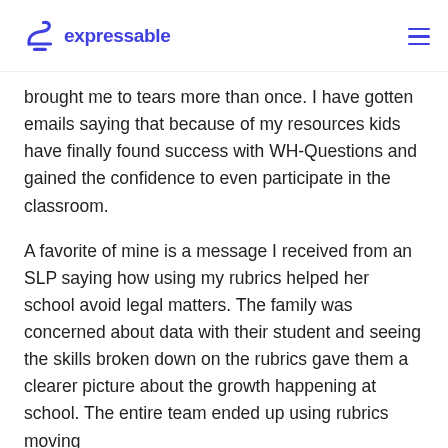expressable
brought me to tears more than once. I have gotten emails saying that because of my resources kids have finally found success with WH-Questions and gained the confidence to even participate in the classroom.
A favorite of mine is a message I received from an SLP saying how using my rubrics helped her school avoid legal matters. The family was concerned about data with their student and seeing the skills broken down on the rubrics gave them a clearer picture about the growth happening at school. The entire team ended up using rubrics moving